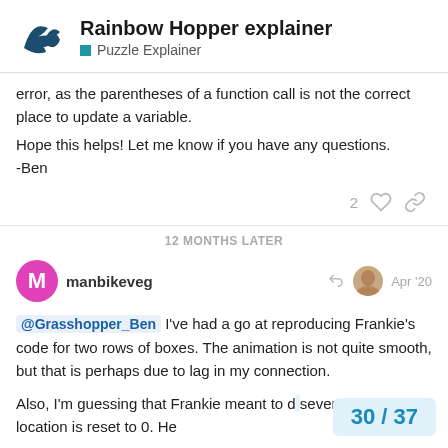Rainbow Hopper explainer — Puzzle Explainer
error, as the parentheses of a function call is not the correct place to update a variable.
Hope this helps! Let me know if you have any questions.
-Ben
12 MONTHS LATER
manbikeveg — Apr '20
@Grasshopper_Ben I've had a go at reproducing Frankie's code for two rows of boxes. The animation is not quite smooth, but that is perhaps due to lag in my connection.
Also, I'm guessing that Frankie meant to d seven boxes after location is reset to 0. He
30 / 37